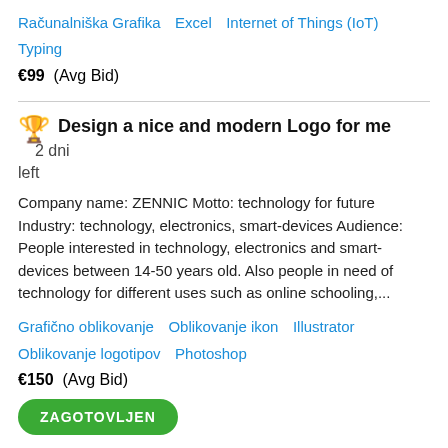Računalniška Grafika   Excel   Internet of Things (IoT)   Typing
€99  (Avg Bid)
Design a nice and modern Logo for me  2 dni left
Company name: ZENNIC Motto: technology for future Industry: technology, electronics, smart-devices Audience: People interested in technology, electronics and smart-devices between 14-50 years old. Also people in need of technology for different uses such as online schooling,...
Grafično oblikovanje   Oblikovanje ikon   Illustrator   Oblikovanje logotipov   Photoshop
€150  (Avg Bid)
ZAGOTOVLJEN